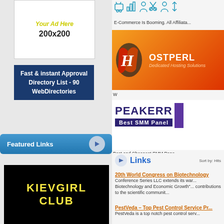[Figure (illustration): Ad placeholder box showing 'Your Ad Here 200x200' with yellow italic heading and bold black size text]
Fast & instant Approval Directory List - 90 WebDirectories
Featured Links
[Figure (illustration): KievGirl Club advertisement - black background with yellow bold text reading KIEVGIRL CLUB]
[Figure (illustration): E-Commerce Is Booming. All Affiliates... banner with shopping/commerce icons in teal outline style]
[Figure (illustration): HostPerl Dedicated Hosting Solutions banner with orange-red gradient and HostPerl logo]
W
[Figure (illustration): PEAKERR Best SMM Panel banner with dark purple text and purple accent block]
Best and Cheapest SMM Pane...
Links
Sort by: Hits
20th World Congress on Biotechnology
Conference Series LLC extends its warm... Biotechnology and Economic Growth"... contributions to the scientific communit...
PestVeda – Top Pest Control Service Pr...
PestVeda is a top notch pest control serv...